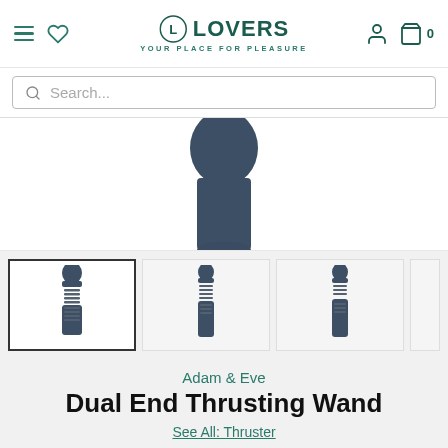LOVERS — YOUR PLACE FOR PLEASURE
[Figure (screenshot): Search bar with magnifying glass icon and placeholder text 'Search...']
[Figure (photo): Top portion of a dark navy blue dual-end wand vibrator product, showing the rounded head]
[Figure (photo): Three thumbnail views of the Dual End Thrusting Wand product in dark navy blue, shown from slightly different angles]
Adam & Eve
Dual End Thrusting Wand
See All: Thruster